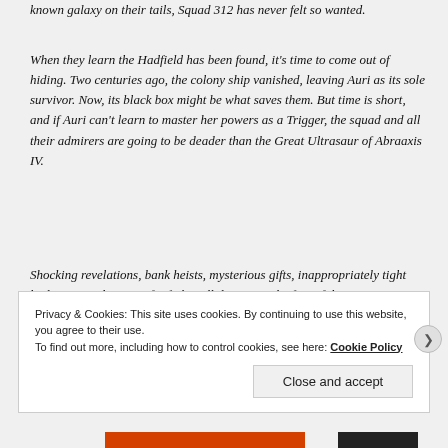known galaxy on their tails, Squad 312 has never felt so wanted.
When they learn the Hadfield has been found, it's time to come out of hiding. Two centuries ago, the colony ship vanished, leaving Auri as its sole survivor. Now, its black box might be what saves them. But time is short, and if Auri can't learn to master her powers as a Trigger, the squad and all their admirers are going to be deader than the Great Ultrasaur of Abraaxis IV.
Shocking revelations, bank heists, mysterious gifts, inappropriately tight bodysuits, and an epic firefight will determine the fate of the Aurora Legion's most unforgettable heroes—and maybe the rest of the galaxy
Privacy & Cookies: This site uses cookies. By continuing to use this website, you agree to their use.
To find out more, including how to control cookies, see here: Cookie Policy
Close and accept